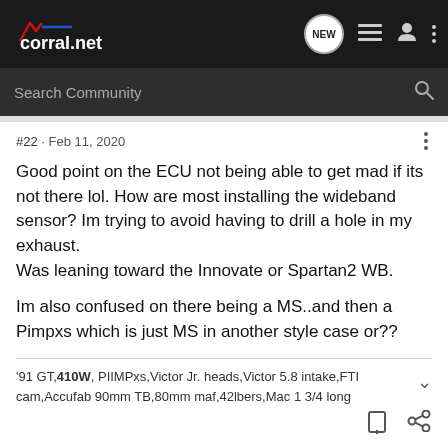corral.net
#22 · Feb 11, 2020
Good point on the ECU not being able to get mad if its not there lol. How are most installing the wideband sensor? Im trying to avoid having to drill a hole in my exhaust.
Was leaning toward the Innovate or Spartan2 WB.

Im also confused on there being a MS..and then a Pimpxs which is just MS in another style case or??
'91 GT, 410W, PIIMPxs,Victor Jr. heads,Victor 5.8 intake,FTI cam,Accufab 90mm TB,80mm maf,42lbers,Mac 1 3/4 long